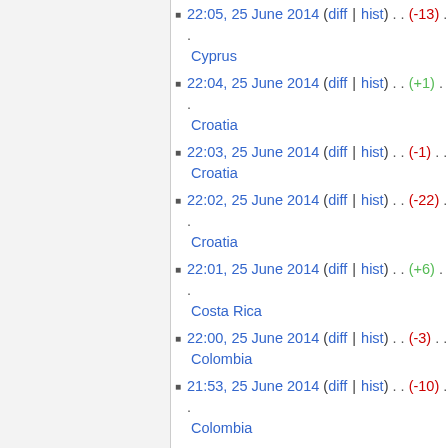22:05, 25 June 2014 (diff | hist) . . (-13) . . Cyprus
22:04, 25 June 2014 (diff | hist) . . (+1) . . Croatia
22:03, 25 June 2014 (diff | hist) . . (-1) . . Croatia
22:02, 25 June 2014 (diff | hist) . . (-22) . . Croatia
22:01, 25 June 2014 (diff | hist) . . (+6) . . Costa Rica
22:00, 25 June 2014 (diff | hist) . . (-3) . . Colombia
21:53, 25 June 2014 (diff | hist) . . (-10) . . Colombia
21:51, 25 June 2014 (diff | hist) . . (+9) . . Chile
21:50, 25 June 2014 (diff | hist) . . (-3) . . Bulgaria
21:49, 25 June 2014 (diff | hist) . . (+8) . . Brazil
21:48, 25 June 2014 (diff | hist) . . (-15) . . Bosnia and Herzegovina
21:47, 25 June 2014 (diff | hist) . . (-11)